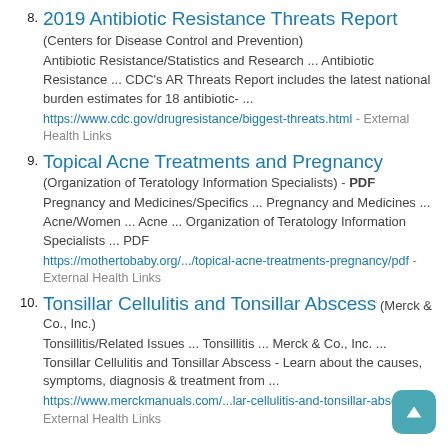8. 2019 Antibiotic Resistance Threats Report (Centers for Disease Control and Prevention) Antibiotic Resistance/Statistics and Research ... Antibiotic Resistance ... CDC's AR Threats Report includes the latest national burden estimates for 18 antibiotic- ... https://www.cdc.gov/drugresistance/biggest-threats.html - External Health Links
9. Topical Acne Treatments and Pregnancy (Organization of Teratology Information Specialists) - PDF Pregnancy and Medicines/Specifics ... Pregnancy and Medicines ... Acne/Women ... Acne ... Organization of Teratology Information Specialists ... PDF https://mothertobaby.org/.../topical-acne-treatments-pregnancy/pdf - External Health Links
10. Tonsillar Cellulitis and Tonsillar Abscess (Merck & Co., Inc.) Tonsillitis/Related Issues ... Tonsillitis ... Merck & Co., Inc. ... Tonsillar Cellulitis and Tonsillar Abscess - Learn about the causes, symptoms, diagnosis & treatment from ... https://www.merckmanuals.com/...lar-cellulitis-and-tonsillar-abscess - External Health Links